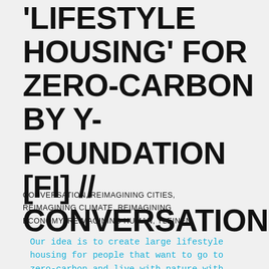'LIFESTYLE HOUSING' FOR ZERO-CARBON BY Y-FOUNDATION [FI] // CONVERSATION
CONVERSATION, REIMAGINING CITIES, REIMAGINING CLIMATE, REIMAGINING ECONOMY, REIMAGINING HUMAN, YLEINEN
Our idea is to create large lifestyle housing for people that want to go to zero-carbon and live with nature with gardening as well as produce food with